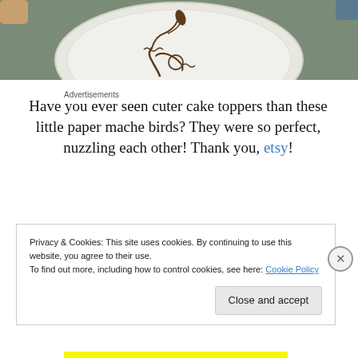[Figure (photo): A white paper plate on a table surface with a chocolate syrup drawing of a bird-like figure with squiggly lines on it. Hands visible at edges.]
Advertisements
Have you ever seen cuter cake toppers than these little paper mache birds? They were so perfect, nuzzling each other! Thank you, etsy!
Privacy & Cookies: This site uses cookies. By continuing to use this website, you agree to their use.
To find out more, including how to control cookies, see here: Cookie Policy